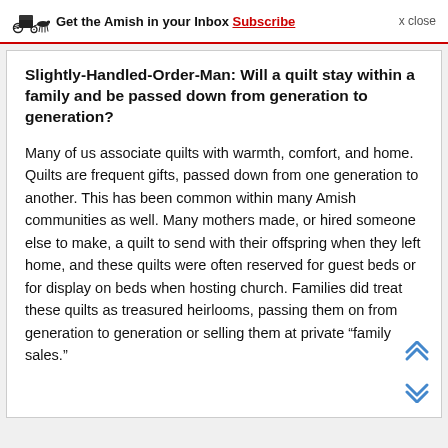Get the Amish in your Inbox Subscribe x close
Slightly-Handled-Order-Man: Will a quilt stay within a family and be passed down from generation to generation?
Many of us associate quilts with warmth, comfort, and home. Quilts are frequent gifts, passed down from one generation to another. This has been common within many Amish communities as well. Many mothers made, or hired someone else to make, a quilt to send with their offspring when they left home, and these quilts were often reserved for guest beds or for display on beds when hosting church. Families did treat these quilts as treasured heirlooms, passing them on from generation to generation or selling them at private “family sales.”